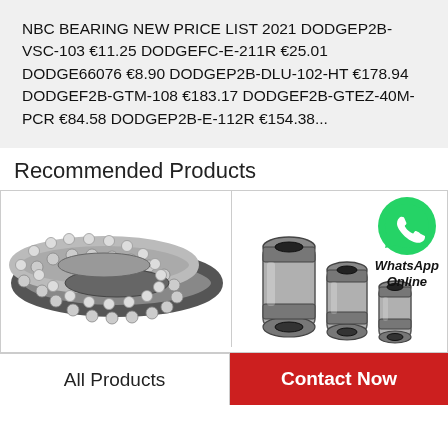NBC BEARING NEW PRICE LIST 2021 DODGEP2B-VSC-103 €11.25 DODGEFC-E-211R €25.01 DODGE66076 €8.90 DODGEP2B-DLU-102-HT €178.94 DODGEF2B-GTM-108 €183.17 DODGEF2B-GTEZ-40M-PCR €84.58 DODGEP2B-E-112R €154.38...
Recommended Products
[Figure (photo): Thrust ball bearing – two flat rings with ball bearings between them, shown in silver/grey metallic finish]
[Figure (photo): WhatsApp Online icon (green circle with white phone handset) above text 'WhatsApp Online']
[Figure (photo): Three linear motion bearings/bushings of decreasing size, metallic silver-grey and black]
All Products
Contact Now